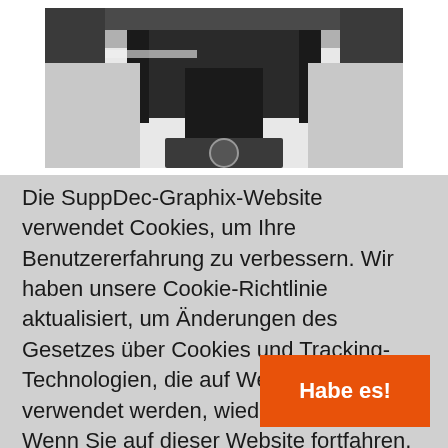[Figure (photo): Black and white photograph of the front hood/windshield area of a white car, viewed from above/front angle.]
Die SuppDec-Graphix-Website verwendet Cookies, um Ihre Benutzererfahrung zu verbessern. Wir haben unsere Cookie-Richtlinie aktualisiert, um Änderungen des Gesetzes über Cookies und Tracking-Technologien, die auf Websites verwendet werden, wiederzugeben. Wenn Sie auf dieser Website fortfahren, bieten Sie Ihre Zustimmung unserer Verwendung von Cookies an.
[Figure (other): Orange button with white bold text reading 'Habe es!']